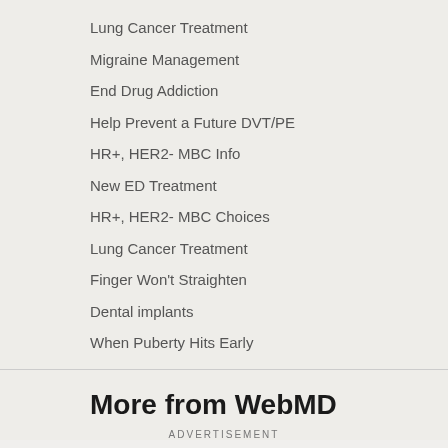Lung Cancer Treatment
Migraine Management
End Drug Addiction
Help Prevent a Future DVT/PE
HR+, HER2- MBC Info
New ED Treatment
HR+, HER2- MBC Choices
Lung Cancer Treatment
Finger Won't Straighten
Dental implants
When Puberty Hits Early
More from WebMD
ADVERTISEMENT